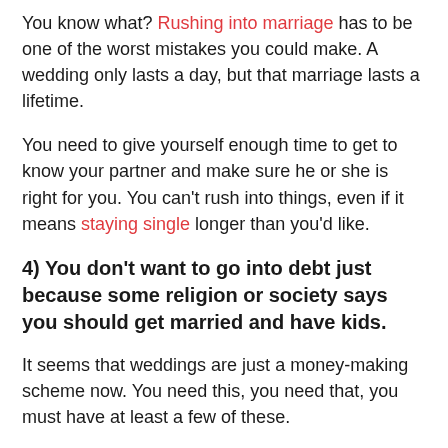You know what? Rushing into marriage has to be one of the worst mistakes you could make. A wedding only lasts a day, but that marriage lasts a lifetime.
You need to give yourself enough time to get to know your partner and make sure he or she is right for you. You can't rush into things, even if it means staying single longer than you'd like.
4) You don't want to go into debt just because some religion or society says you should get married and have kids.
It seems that weddings are just a money-making scheme now. You need this, you need that, you must have at least a few of these.